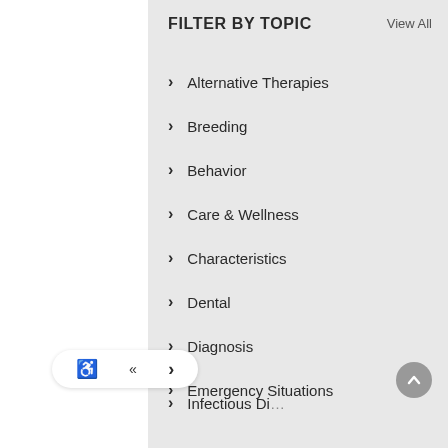FILTER BY TOPIC
View All
Alternative Therapies
Breeding
Behavior
Care & Wellness
Characteristics
Dental
Diagnosis
Emergency Situations
Infectious Di…